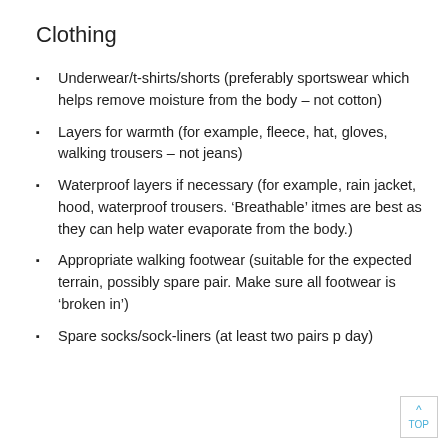Clothing
Underwear/t-shirts/shorts (preferably sportswear which helps remove moisture from the body – not cotton)
Layers for warmth (for example, fleece, hat, gloves, walking trousers – not jeans)
Waterproof layers if necessary (for example, rain jacket, hood, waterproof trousers. 'Breathable' itmes are best as they can help water evaporate from the body.)
Appropriate walking footwear (suitable for the expected terrain, possibly spare pair. Make sure all footwear is 'broken in')
Spare socks/sock-liners (at least two pairs p day)